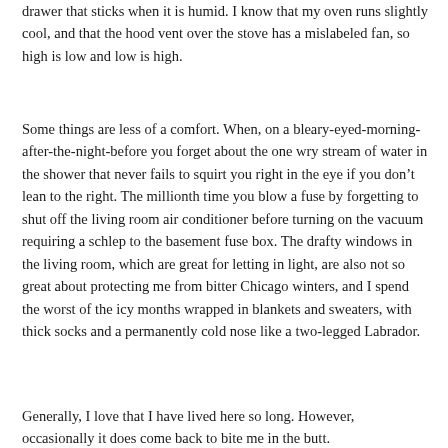drawer that sticks when it is humid. I know that my oven runs slightly cool, and that the hood vent over the stove has a mislabeled fan, so high is low and low is high.
Some things are less of a comfort. When, on a bleary-eyed-morning-after-the-night-before you forget about the one wry stream of water in the shower that never fails to squirt you right in the eye if you don't lean to the right. The millionth time you blow a fuse by forgetting to shut off the living room air conditioner before turning on the vacuum requiring a schlep to the basement fuse box. The drafty windows in the living room, which are great for letting in light, are also not so great about protecting me from bitter Chicago winters, and I spend the worst of the icy months wrapped in blankets and sweaters, with thick socks and a permanently cold nose like a two-legged Labrador.
Generally, I love that I have lived here so long. However, occasionally it does come back to bite me in the butt.